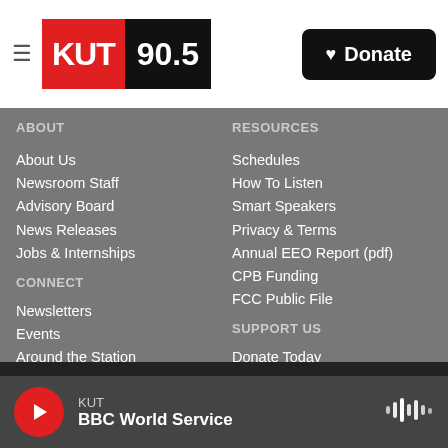KUT 90.5 — Donate
ABOUT
About Us
Newsroom Staff
Advisory Board
News Releases
Jobs & Internships
CONNECT
Newsletters
Events
Around the Station
Mobile Guide
Volunteer
Contact Us
RESOURCES
Schedules
How To Listen
Smart Speakers
Privacy & Terms
Annual EEO Report (pdf)
CPB Funding
FCC Public File
SUPPORT US
Donate Today
Legacy Planning
Business Circle
Car Donation
Sponsorship Opportunities
Member Login
KUT — BBC World Service